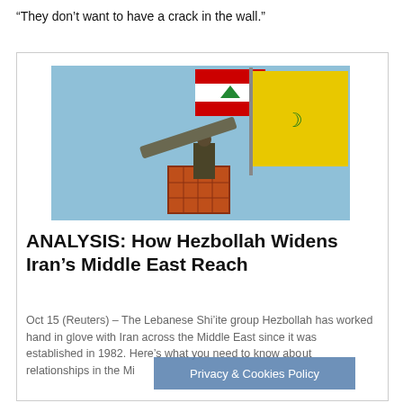“They don’t want to have a crack in the wall.”
[Figure (photo): Photo of a soldier on an elevated platform/crane with a rocket launcher, with a yellow Hezbollah flag and a Lebanese flag visible in the background against a blue sky.]
ANALYSIS: How Hezbollah Widens Iran’s Middle East Reach
Oct 15 (Reuters) – The Lebanese Shi’ite group Hezbollah has worked hand in glove with Iran across the Middle East since it was established in 1982. Here’s what you need to know abo... relationships in the Mi...